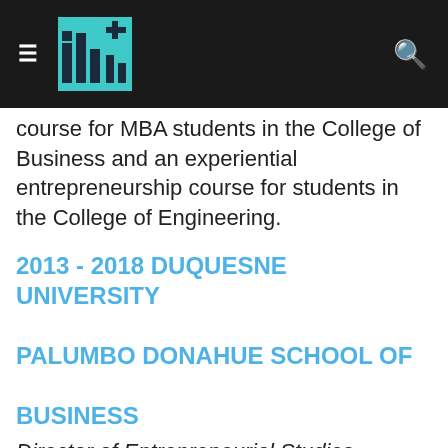course for MBA students in the College of Business and an experiential entrepreneurship course for students in the College of Engineering.
2013 - 2018 DUQUESNE UNIVERSITY PALUMBO DONAHUE SCHOOL OF BUSINESS
Director of Entrepreneurial Studies. Responsible for curriculum design and delivery, student advising, faculty selection and teaching, and maintaining connections to the startup, investor, and business communities to promote entrepreneurial activity and student engagement.